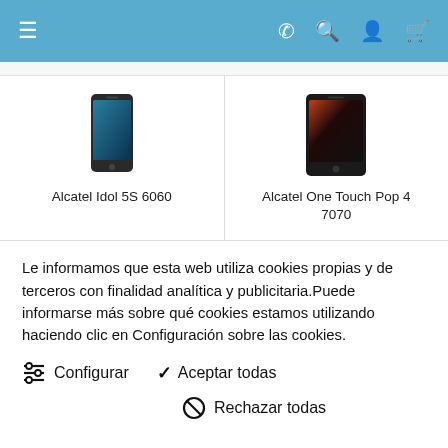Navigation bar with menu, phone, search, account, cart icons
[Figure (photo): Alcatel Idol 5S 6060 smartphone product image]
Alcatel Idol 5S 6060
[Figure (photo): Alcatel One Touch Pop 4 7070 smartphone product image]
Alcatel One Touch Pop 4 7070
Le informamos que esta web utiliza cookies propias y de terceros con finalidad analítica y publicitaria.Puede informarse más sobre qué cookies estamos utilizando haciendo clic en Configuración sobre las cookies.
Configurar
Aceptar todas
Rechazar todas